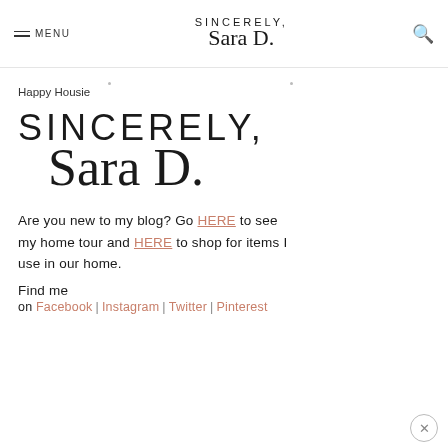MENU | SINCERELY, Sara D. | [search icon]
Happy Housie
[Figure (logo): Large logo: SINCERELY, Sara D. in serif/script combination]
Are you new to my blog? Go HERE to see my home tour and HERE to shop for items I use in our home.
Find me
on Facebook | Instagram | Twitter | Pinterest